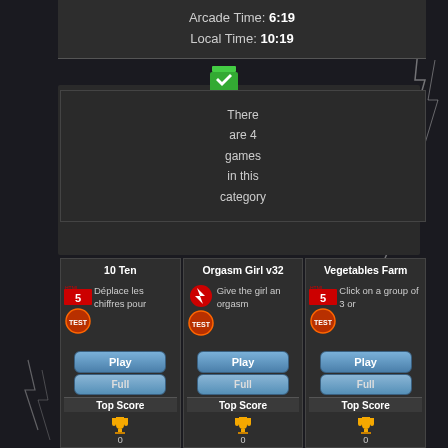Arcade Time: 6:19  Local Time: 10:19
[Figure (illustration): Green checkmark icon]
There are 4 games in this category
10 Ten
[Figure (screenshot): 10 Ten game thumbnail - number puzzle grid]
Déplace les chiffres pour
Orgasm Girl v32
[Figure (screenshot): Orgasm Girl v32 game thumbnail]
Give the girl an orgasm
Vegetables Farm
[Figure (screenshot): Vegetables Farm game thumbnail]
Click on a group of 3 or
Top Score
Top Score
Top Score